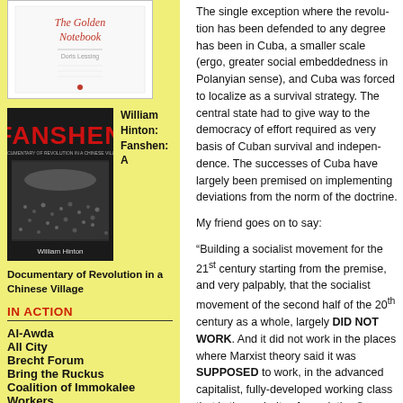[Figure (illustration): Cover of The Golden Notebook book]
[Figure (illustration): Cover of Fanshen book by William Hinton, black and white photograph of crowd scene]
William Hinton: Fanshen: A
Documentary of Revolution in a Chinese Village
IN ACTION
Al-Awda
All City
Brecht Forum
Bring the Ruckus
Coalition of Immokalee Workers
The single exception where the revolution has been defended to any degree has been in Cuba, a smaller scale (ergo, greater social embeddedness in Polanyian sense), and Cuba was forced to localize as a survival strategy. The central state had to give way to the democracy of effort required as very basis of Cuban survival and independence. The successes of Cuba have largely been premised on implementing deviations from the norm of the doctrine.
My friend goes on to say:
“Building a socialist movement for the 21st century starting from the premise, and very palpably, that the socialist movement of the second half of the 20th century as a whole, largely DID NOT WORK. And it did not work in the places where Marxist theory said it was SUPPOSED to work, in the advanced capitalist, fully-developed working class that is the majority of population.”
Unless and until we face this fact, and ask seriously Why?, then refoundation of an effective progressive in the US will never happen. We will simply